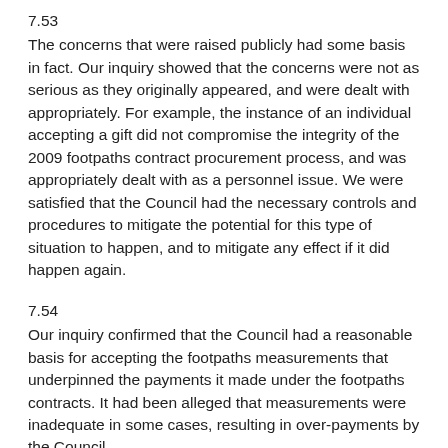7.53
The concerns that were raised publicly had some basis in fact. Our inquiry showed that the concerns were not as serious as they originally appeared, and were dealt with appropriately. For example, the instance of an individual accepting a gift did not compromise the integrity of the 2009 footpaths contract procurement process, and was appropriately dealt with as a personnel issue. We were satisfied that the Council had the necessary controls and procedures to mitigate the potential for this type of situation to happen, and to mitigate any effect if it did happen again.
7.54
Our inquiry confirmed that the Council had a reasonable basis for accepting the footpaths measurements that underpinned the payments it made under the footpaths contracts. It had been alleged that measurements were inadequate in some cases, resulting in over-payments by the Council.